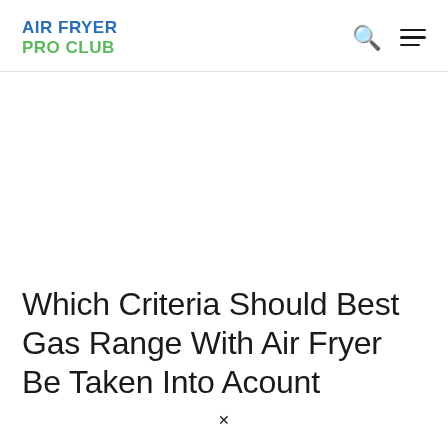AIR FRYER PRO CLUB
Which Criteria Should Best Gas Range With Air Fryer Be Taken Into Acount